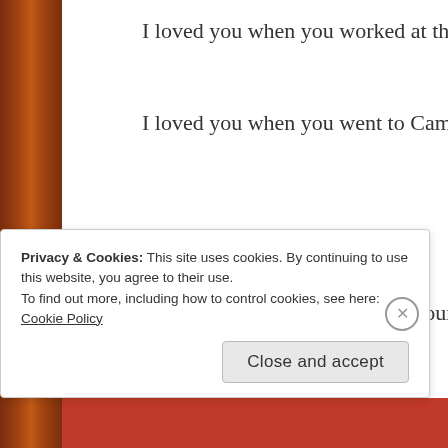I loved you when you worked at the front counter at the Hospice Th…
I loved you when you went to Camp Concord in Lake Tahoe with yo…
I loved you when you married your cousin Vince at auntie Sue's hou…
I loved you when you cared for your cousin Kendall when she cried…
I loved you when you danced with your Dad when he and Aly got ma…
Privacy & Cookies: This site uses cookies. By continuing to use this website, you agree to their use. To find out more, including how to control cookies, see here: Cookie Policy
Close and accept